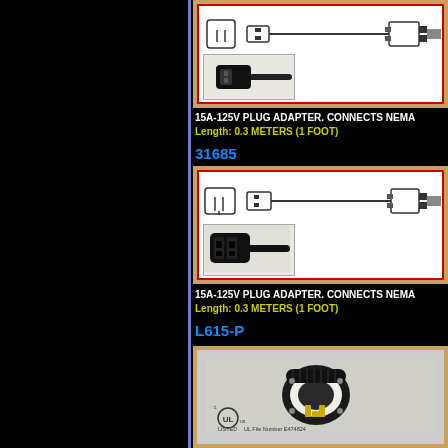[Figure (photo): 15A-125V plug adapter cable with connectors shown. Top portion of image visible.]
15A-125V PLUG ADAPTER. CONNECTS NEMA
Length: 0.3 METERS (1 FOOT)
31685
[Figure (photo): 15A-125V plug adapter image showing IEC C19 connector socket diagram and cable with plugs. Black connector photo shown at bottom left.]
15A-125V PLUG ADAPTER. CONNECTS NEMA
Length: 0.3 METERS (1 FOOT)
L615-P
[Figure (photo): L615-P locking plug, black and white body with yellow prongs. UL listed logo and UL File Number E474824 shown at bottom.]